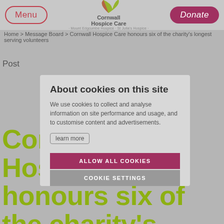[Figure (screenshot): Website screenshot showing Cornwall Hospice Care navigation bar with Menu button on left, Cornwall Hospice Care logo in center, and Donate button on right. Background shows a dimmed webpage with breadcrumb navigation and large olive/green headline text.]
Home > Message Board > Cornwall Hospice Care honours six of the charity's longest serving volunteers
Post
Cornwall Hospice Care honours six of the charity's longest serving volunteers
About cookies on this site
We use cookies to collect and analyse information on site performance and usage, and to customise content and advertisements.
learn more
ALLOW ALL COOKIES
COOKIE SETTINGS